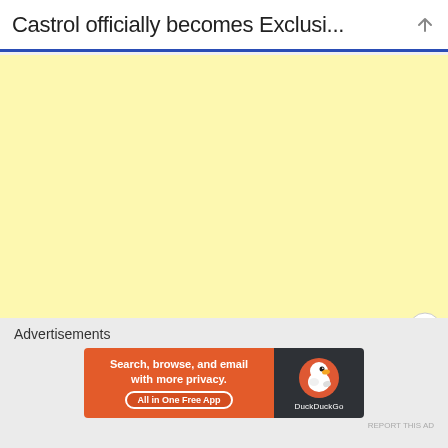Castrol officially becomes Exclusi...
[Figure (other): Large yellow/cream colored advertisement placeholder area]
Advertisements
[Figure (other): DuckDuckGo advertisement banner: 'Search, browse, and email with more privacy. All in One Free App' with DuckDuckGo logo on dark background]